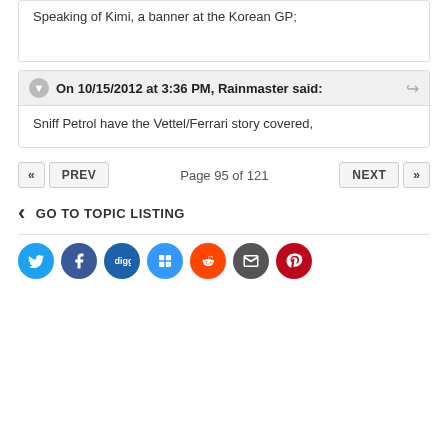Speaking of Kimi, a banner at the Korean GP;
On 10/15/2012 at 3:36 PM, Rainmaster said:
Sniff Petrol have the Vettel/Ferrari story covered,
Page 95 of 121
GO TO TOPIC LISTING